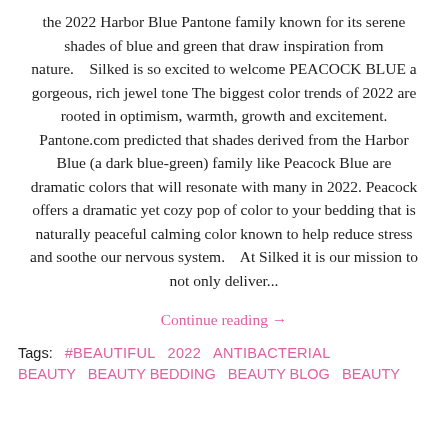the 2022 Harbor Blue Pantone family known for its serene shades of blue and green that draw inspiration from nature.    Silked is so excited to welcome PEACOCK BLUE a gorgeous, rich jewel tone The biggest color trends of 2022 are rooted in optimism, warmth, growth and excitement. Pantone.com predicted that shades derived from the Harbor Blue (a dark blue-green) family like Peacock Blue are dramatic colors that will resonate with many in 2022. Peacock offers a dramatic yet cozy pop of color to your bedding that is naturally peaceful calming color known to help reduce stress and soothe our nervous system.    At Silked it is our mission to not only deliver...
Continue reading →
Tags:  #BEAUTIFUL  2022  ANTIBACTERIAL  BEAUTY  BEAUTY BEDDING  BEAUTY BLOG  BEAUTY